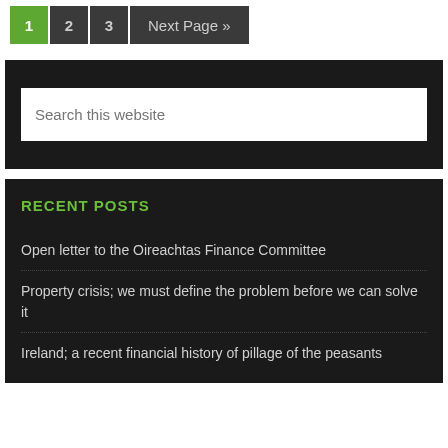1  2  3  Next Page »
Search this website
RECENT POSTS
Open letter to the Oireachtas Finance Committee
Property crisis; we must define the problem before we can solve it
Ireland; a recent financial history of pillage of the peasants